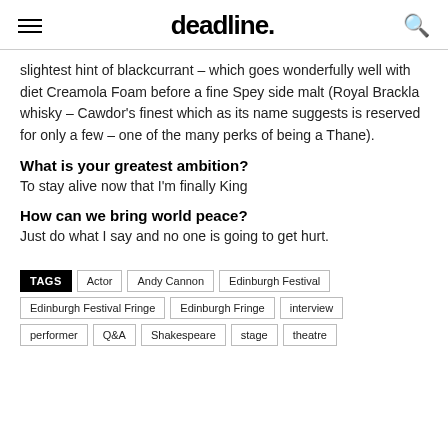deadline.
slightest hint of blackcurrant – which goes wonderfully well with diet Creamola Foam before a fine Spey side malt (Royal Brackla whisky – Cawdor's finest which as its name suggests is reserved for only a few – one of the many perks of being a Thane).
What is your greatest ambition?
To stay alive now that I'm finally King
How can we bring world peace?
Just do what I say and no one is going to get hurt.
TAGS  Actor  Andy Cannon  Edinburgh Festival  Edinburgh Festival Fringe  Edinburgh Fringe  interview  performer  Q&A  Shakespeare  stage  theatre